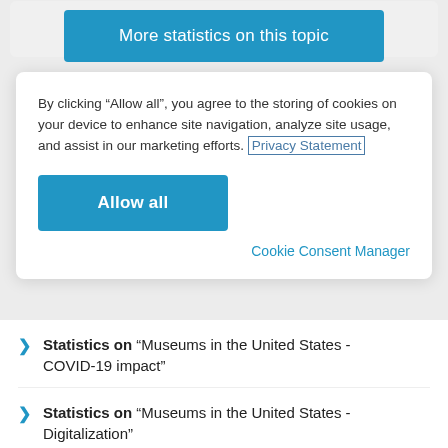[Figure (screenshot): Blue button labeled 'More statistics on this topic' on a light gray background with stacked card effect behind it]
By clicking “Allow all”, you agree to the storing of cookies on your device to enhance site navigation, analyze site usage, and assist in our marketing efforts. Privacy Statement
[Figure (screenshot): Blue 'Allow all' button]
Cookie Consent Manager
Statistics on "Museums in the United States - COVID-19 impact"
Statistics on "Museums in the United States - Digitalization"
Statistics on "Museums in the United Stat..."